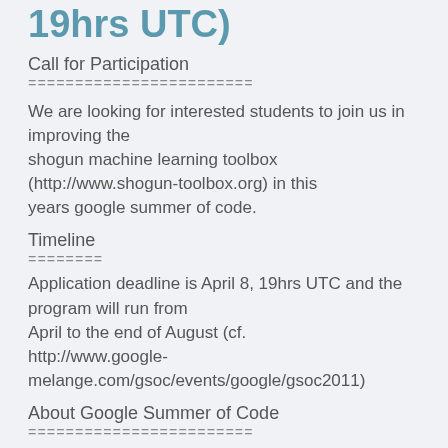19hrs UTC)
Call for Participation
========================
We are looking for interested students to join us in improving the shogun machine learning toolbox (http://www.shogun-toolbox.org) in this years google summer of code.
Timeline
========
Application deadline is April 8, 19hrs UTC and the program will run from April to the end of August (cf. http://www.google-melange.com/gsoc/events/google/gsoc2011)
About Google Summer of Code
========================